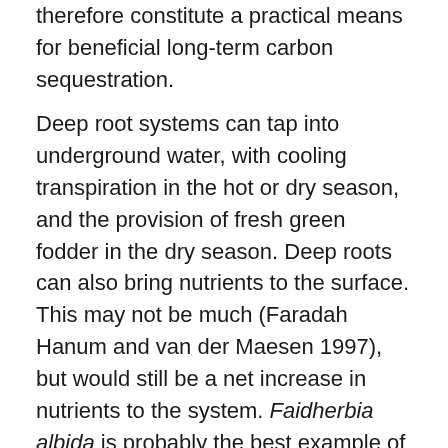therefore constitute a practical means for beneficial long-term carbon sequestration.
Deep root systems can tap into underground water, with cooling transpiration in the hot or dry season, and the provision of fresh green fodder in the dry season. Deep roots can also bring nutrients to the surface. This may not be much (Faradah Hanum and van der Maesen 1997), but would still be a net increase in nutrients to the system. Faidherbia albida is probably the best example of this. In a cover crop trial in Zambia, a small percentage of Sesbania sesban (a small, very fast-growing tree) roots reached the water table at 7.5 metres after two year's growth (Kwesiga and Baxter). In high precipitation areas, nutrients tend to leach away, and deep-rooted plants can retrieve at least some of these, as well as gain access to underground water.